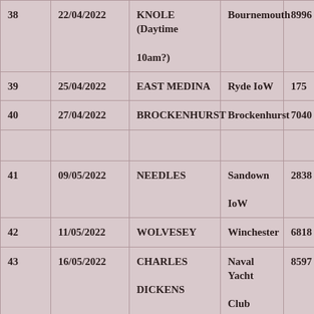| # | Date | Event | Location | ID |
| --- | --- | --- | --- | --- |
| 38 | 22/04/2022 | KNOLE (Daytime 10am?) | Bournemouth | 8996 |
| 39 | 25/04/2022 | EAST MEDINA | Ryde IoW | 175 |
| 40 | 27/04/2022 | BROCKENHURST | Brockenhurst | 7040 |
|  |  |  |  |  |
| 41 | 09/05/2022 | NEEDLES | Sandown IoW | 2838 |
| 42 | 11/05/2022 | WOLVESEY | Winchester | 6818 |
| 43 | 16/05/2022 | CHARLES DICKENS | Naval Yacht Club | 8597 |
| 44 | 25/05/2022 | ST GEORGE'S | Havant | 1958 |